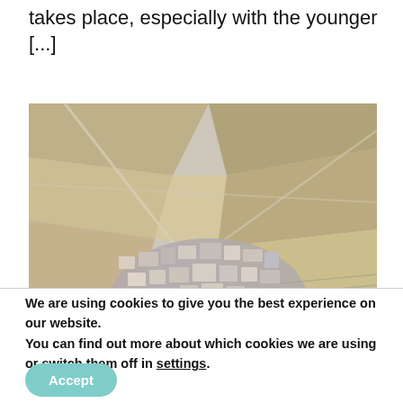takes place, especially with the younger [...]
[Figure (photo): Aerial photograph of a European village surrounded by agricultural fields and vineyards, viewed from above.]
We are using cookies to give you the best experience on our website.
You can find out more about which cookies we are using or switch them off in settings.
Accept